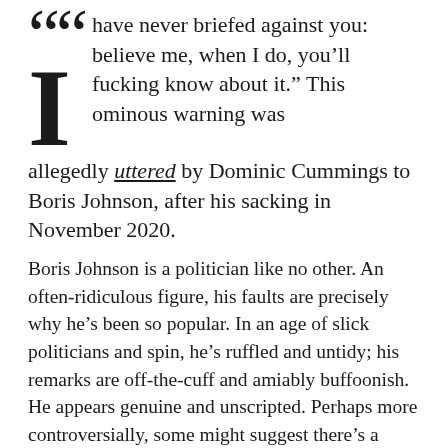“I have never briefed against you: believe me, when I do, you’ll fucking know about it.” This ominous warning was allegedly uttered by Dominic Cummings to Boris Johnson, after his sacking in November 2020.
Boris Johnson is a politician like no other. An often-ridiculous figure, his faults are precisely why he’s been so popular. In an age of slick politicians and spin, he’s ruffled and untidy; his remarks are off-the-cuff and amiably buffoonish. He appears genuine and unscripted. Perhaps more controversially, some might suggest there’s a deference to his success. Could anyone but a toff pull off his schtick?